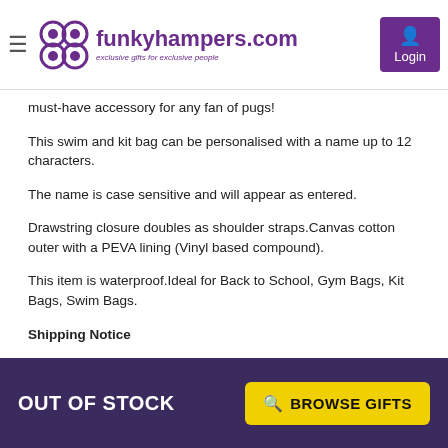funkyhampers.com — exclusive gifts for exclusive people
must-have accessory for any fan of pugs!
This swim and kit bag can be personalised with a name up to 12 characters.
The name is case sensitive and will appear as entered.
Drawstring closure doubles as shoulder straps.Canvas cotton outer with a PEVA lining (Vinyl based compound).
This item is waterproof.Ideal for Back to School, Gym Bags, Kit Bags, Swim Bags.
Shipping Notice
This product will be dispatched by a different warehouse so may be sent separately from the rest of your order if you choose multiple items. International delivery options are not available for this product. UK delivery only.
OUT OF STOCK   BROWSE GIFTS